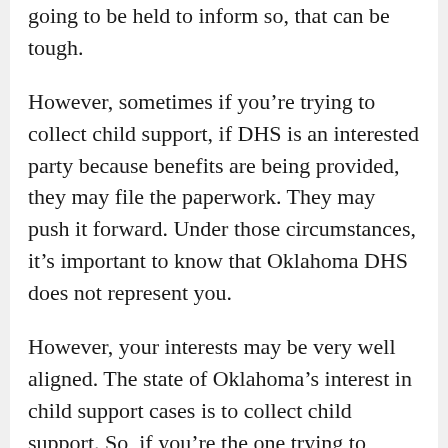going to be held to inform so, that can be tough.
However, sometimes if you’re trying to collect child support, if DHS is an interested party because benefits are being provided, they may file the paperwork. They may push it forward. Under those circumstances, it’s important to know that Oklahoma DHS does not represent you.
However, your interests may be very well aligned. The state of Oklahoma’s interest in child support cases is to collect child support. So, if you’re the one trying to collect child support, DHS for the most part may do the heavy lifting for you, filing it, setting it for hearing, getting an order set, and helping to collect on that. In which case, you may not have to have an attorney all of...